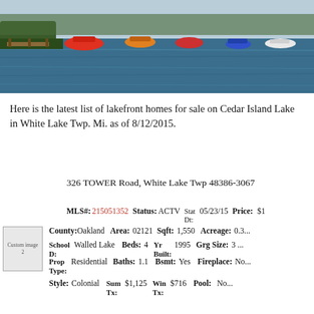[Figure (photo): Lakefront photo showing boats docked at a marina on Cedar Island Lake]
Here is the latest list of lakefront homes for sale on Cedar Island Lake in White Lake Twp. Mi. as of 8/12/2015.
326 TOWER Road, White Lake Twp 48386-3067
| MLS#: | 215051352 | Status: | ACTV | Stat Dt: | 05/23/15 | Price: | $1... |
| County: | Oakland | Area: | 02121 | Sqft: | 1,550 | Acreage: | 0.3... |
| School D: | Walled Lake | Beds: | 4 | Yr Built: | 1995 | Grg Size: | 3 ... |
| Prop Type: | Residential | Baths: | 1.1 | Bsmt: | Yes | Fireplace: | No... |
| Style: | Colonial | Sum Tx: | $1,125 | Win Tx: | $716 | Pool: | No... |